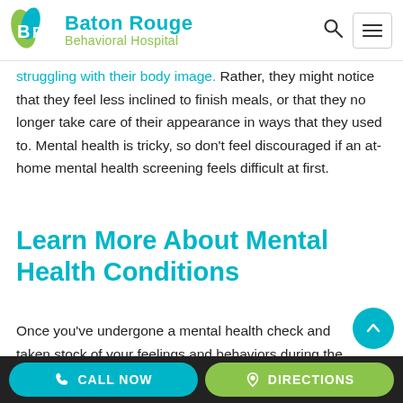[Figure (logo): Baton Rouge Behavioral Hospital logo with teal and green leaf/BR icon and text]
struggling with their body image. Rather, they might notice that they feel less inclined to finish meals, or that they no longer take care of their appearance in ways that they used to. Mental health is tricky, so don't feel discouraged if an at-home mental health screening feels difficult at first.
Learn More About Mental Health Conditions
Once you've undergone a mental health check and taken stock of your feelings and behaviors during the